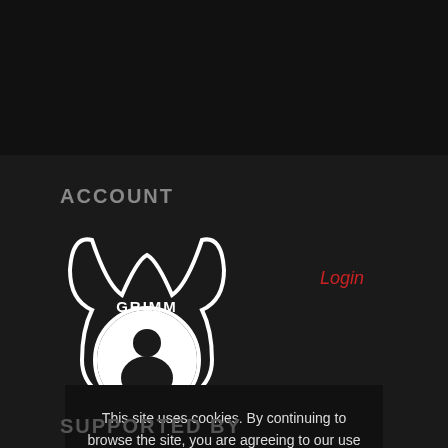[Figure (logo): Dark top navigation bar area]
ACCOUNT
[Figure (logo): GRIMM brand logo with devil horns and silhouette figure in white on black]
Login
This site uses cookies. By continuing to browse the site, you are agreeing to our use of cookies.
OK
Learn more
SUPPORTED BY